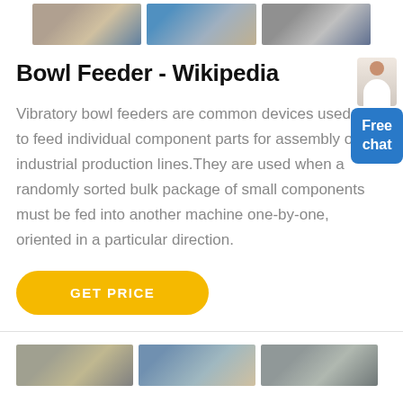[Figure (photo): Three industrial machinery photos at top of page]
Bowl Feeder - Wikipedia
Vibratory bowl feeders are common devices used to feed individual component parts for assembly on industrial production lines. They are used when a randomly sorted bulk package of small components must be fed into another machine one-by-one, oriented in a particular direction.
[Figure (illustration): Person in white outfit with free chat widget button]
[Figure (other): GET PRICE yellow rounded button]
[Figure (photo): Three industrial machinery photos at bottom of page]